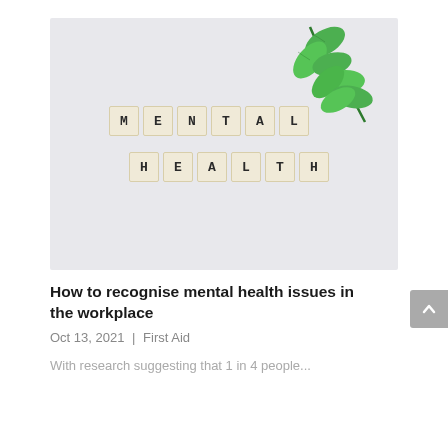[Figure (photo): Photo of Scrabble letter tiles spelling out MENTAL and HEALTH on a light grey/white surface, with green leaves in the top right corner.]
How to recognise mental health issues in the workplace
Oct 13, 2021  |  First Aid
With research suggesting that 1 in 4 people...